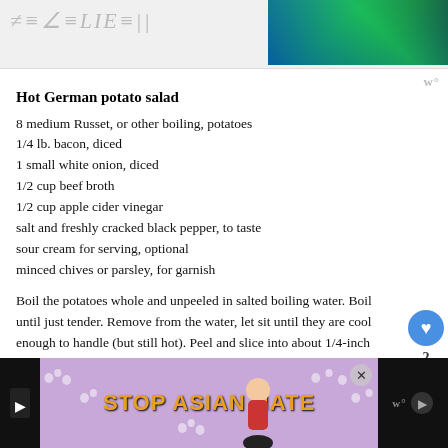[Figure (photo): Top bar with website logo/wordmark on left and a sports photo on the right]
Hot German potato salad
8 medium Russet, or other boiling, potatoes
1/4 lb. bacon, diced
1 small white onion, diced
1/2 cup beef broth
1/2 cup apple cider vinegar
salt and freshly cracked black pepper, to taste
sour cream for serving, optional
minced chives or parsley, for garnish
Boil the potatoes whole and unpeeled in salted boiling water. Boil until just tender. Remove from the water, let sit until they are cool enough to handle (but still hot). Peel and slice into about 1/4-inch slices. Place in a large heat-proof bowl.
[Figure (screenshot): STOP ASIAN HATE advertisement banner at the bottom]